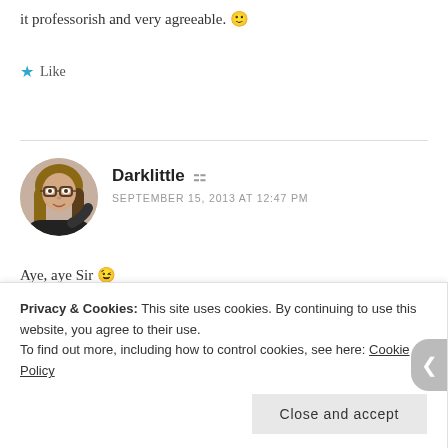it professorish and very agreeable. 🙂
★ Like
Darklittle 👤
SEPTEMBER 15, 2013 AT 12:47 PM
[Figure (photo): Circular avatar photo of a woman with glasses and long hair, wearing dark clothing]
Aye, aye Sir 😉
★ Like
Privacy & Cookies: This site uses cookies. By continuing to use this website, you agree to their use. To find out more, including how to control cookies, see here: Cookie Policy
Close and accept